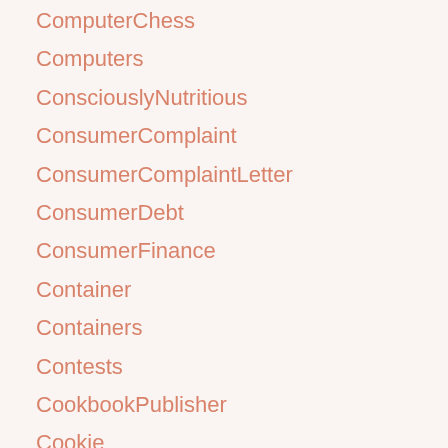ComputerChess
Computers
ConsciouslyNutritious
ConsumerComplaint
ConsumerComplaintLetter
ConsumerDebt
ConsumerFinance
Container
Containers
Contests
CookbookPublisher
Cookie
Cookies
Cooking
CookingTips